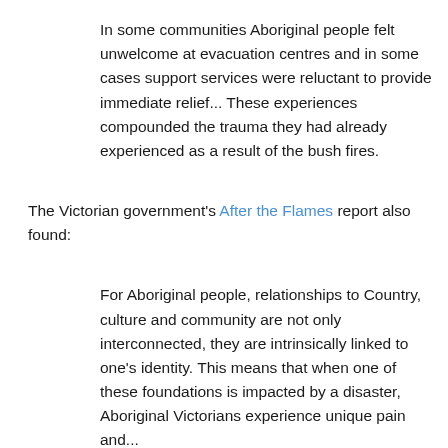In some communities Aboriginal people felt unwelcome at evacuation centres and in some cases support services were reluctant to provide immediate relief... These experiences compounded the trauma they had already experienced as a result of the bush fires.
The Victorian government's After the Flames report also found:
For Aboriginal people, relationships to Country, culture and community are not only interconnected, they are intrinsically linked to one's identity. This means that when one of these foundations is impacted by a disaster, Aboriginal Victorians experience unique pain and...